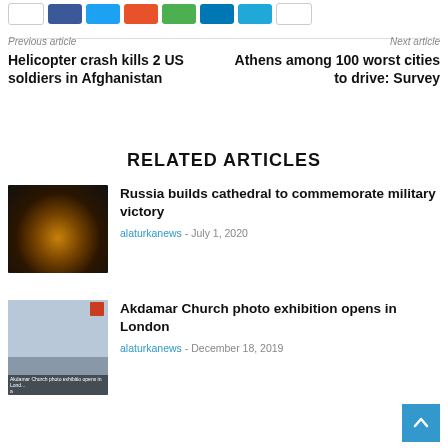[Figure (other): Social share buttons row: white, Facebook blue, Twitter cyan, Reddit orange, WhatsApp green, LinkedIn dark blue, Telegram light blue, white]
Previous article
Helicopter crash kills 2 US soldiers in Afghanistan
Next article
Athens among 100 worst cities to drive: Survey
RELATED ARTICLES
[Figure (photo): Aerial night view of cathedral with glowing orange lights arranged in circular pattern against dark background]
Russia builds cathedral to commemorate military victory
alaturkanews - July 1, 2020
[Figure (photo): Woman speaking at podium, smiling, with caption overlay text 'Akdamar Church photo exhibition opens in Lond...']
Akdamar Church photo exhibition opens in London
alaturkanews - December 18, 2019